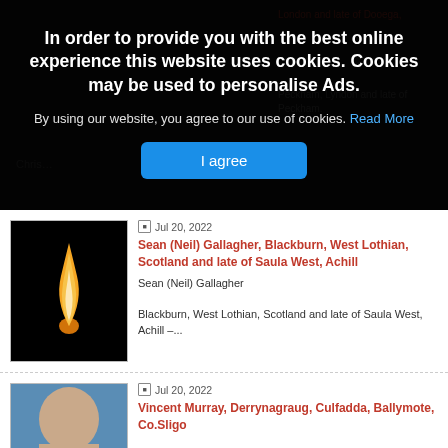In order to provide you with the best online experience this website uses cookies. Cookies may be used to personalise Ads.
By using our website, you agree to our use of cookies. Read More
I agree
Jul 20, 2022
Sean (Neil) Gallagher, Blackburn, West Lothian, Scotland and late of Saula West, Achill
Sean (Neil) Gallagher

Blackburn, West Lothian, Scotland and late of Saula West, Achill –...
Jul 20, 2022
Vincent Murray, Derrynagraug, Culfadda, Ballymote, Co.Sligo